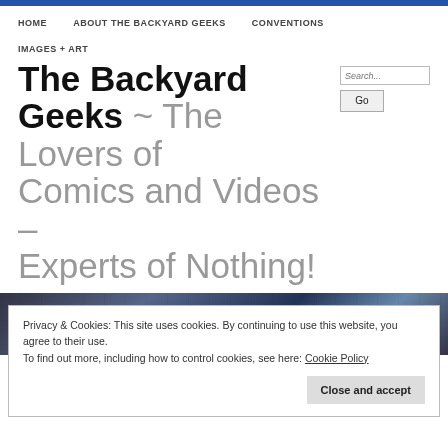HOME   ABOUT THE BACKYARD GEEKS   CONVENTIONS
IMAGES + ART
The Backyard Geeks ~ The Lovers of Comics and Videos – Experts of Nothing!
Privacy & Cookies: This site uses cookies. By continuing to use this website, you agree to their use.
To find out more, including how to control cookies, see here: Cookie Policy
Close and accept